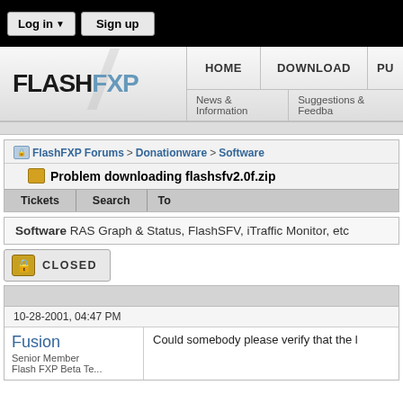Log in ▼  Sign up
[Figure (logo): FlashFXP logo with navigation: HOME, DOWNLOAD, PU... | News & Information, Suggestions & Feedba...]
FlashFXP Forums > Donationware > Software
Problem downloading flashsfv2.0f.zip
Tickets  Search  To...
Software RAS Graph & Status, FlashSFV, iTraffic Monitor, etc
CLOSED
10-28-2001, 04:47 PM
Fusion
Senior Member
Flash FXP Beta Te...
Could somebody please verify that the l...